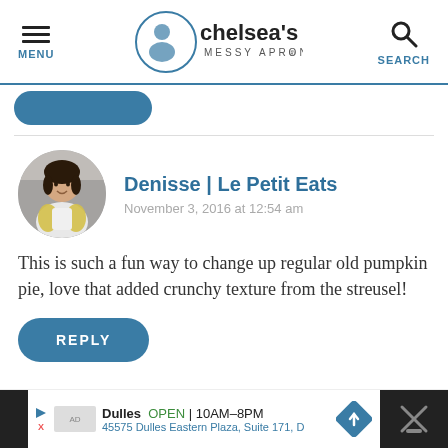MENU | chelsea's MESSY APRON® | SEARCH
[Figure (photo): Circular profile photo of Denisse, a woman wearing a white apron and yellow cardigan, smiling]
Denisse | Le Petit Eats
November 3, 2016 at 12:54 am
This is such a fun way to change up regular old pumpkin pie, love that added crunchy texture from the streusel!
REPLY
Dulles OPEN 10AM–8PM 45575 Dulles Eastern Plaza, Suite 171, D